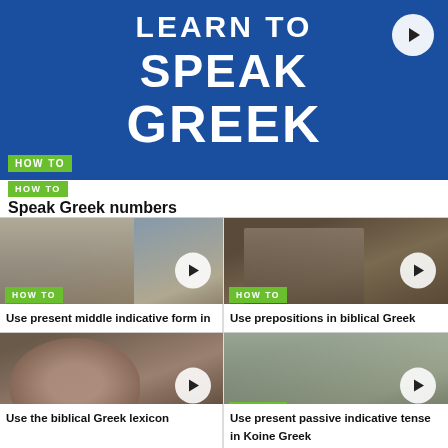[Figure (screenshot): Blue banner with white bold text 'SPEAK GREEK' (partial 'LEARN TO' at top), play button in top-right corner, HOW TO badge, and title 'Speak Greek numbers']
[Figure (screenshot): Video thumbnail showing Acropolis ruins, HOW TO badge, title: Use present middle indicative form in biblical Greek]
[Figure (screenshot): Video thumbnail showing man in front of bookshelf, HOW TO badge, title: Use prepositions in biblical Greek]
[Figure (screenshot): Video thumbnail showing man's face, HOW TO badge, title: Use the biblical Greek lexicon]
[Figure (screenshot): Video thumbnail showing aerial view of ancient ruins, HOW TO badge, title: Use present passive indicative tense in Koine Greek]